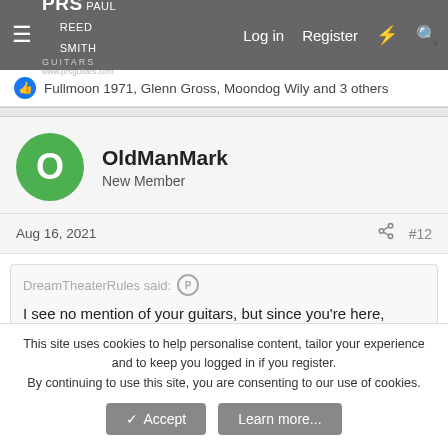PRS Paul Reed Smith Guitars — Log in | Register
Fullmoon 1971, Glenn Gross, Moondog Wily and 3 others
OldManMark
New Member
Aug 16, 2021  #12
DreamTheaterRules said:
I see no mention of your guitars, but since you're here, figure you must play PRS. If so, keep reading...
The hardest part is not the blues, it's getting your law degree and passing the bar exam so that you can truly fit in here.
This site uses cookies to help personalise content, tailor your experience and to keep you logged in if you register.
By continuing to use this site, you are consenting to our use of cookies.